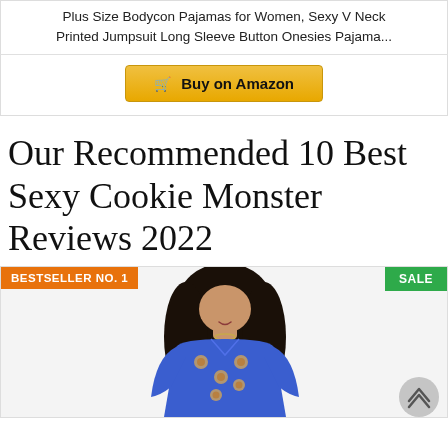Plus Size Bodycon Pajamas for Women, Sexy V Neck Printed Jumpsuit Long Sleeve Button Onesies Pajama...
Buy on Amazon
Our Recommended 10 Best Sexy Cookie Monster Reviews 2022
BESTSELLER NO. 1
SALE
[Figure (photo): Woman wearing a blue cookie monster print bodycon jumpsuit with long sleeves and V-neck]